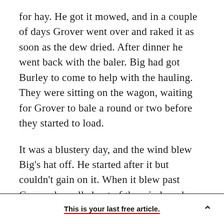for hay. He got it mowed, and in a couple of days Grover went over and raked it as soon as the dew dried. After dinner he went back with the baler. Big had got Burley to come to help with the hauling. They were sitting on the wagon, waiting for Grover to bale a round or two before they started to load.
It was a blustery day, and the wind blew Big's hat off. He started after it but couldn't gain on it. When it blew past Grover, he pulled out of the windrow he was baling, put the tractor in a higher gear and cut in ahead of Big. Burley was just paying careful attention to see how it was going to turn
This is your last free article.